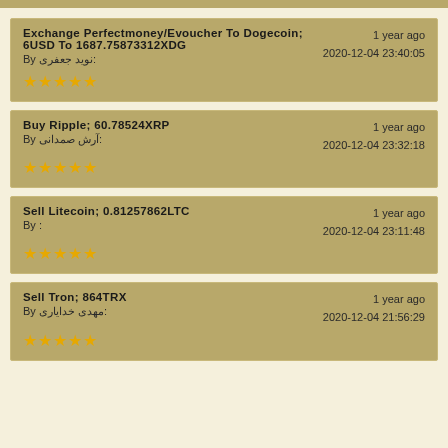Exchange Perfectmoney/Evoucher To Dogecoin; 6USD To 1687.75873312XDG
By: نوید جعفری
1 year ago
2020-12-04 23:40:05
★★★★★
Buy Ripple; 60.78524XRP
By: آرش صمدانی
1 year ago
2020-12-04 23:32:18
★★★★★
Sell Litecoin; 0.81257862LTC
By:
1 year ago
2020-12-04 23:11:48
★★★★★
Sell Tron; 864TRX
By: مهدی خدایاری
1 year ago
2020-12-04 21:56:29
★★★★★